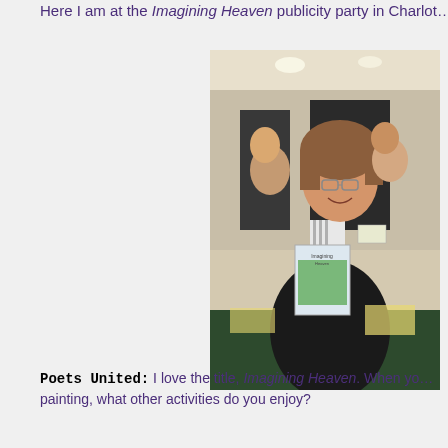Here I am at the Imagining Heaven publicity party in Charlot…
[Figure (photo): Woman smiling and holding a book titled 'Imagining Heaven' at a publicity party event in a large room with other attendees in background]
Poets United: I love the title, Imagining Heaven. When yo… painting, what other activities do you enjoy?